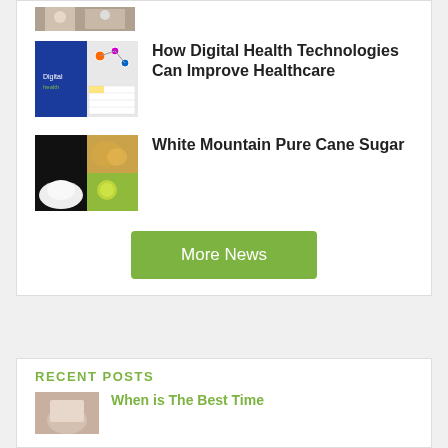[Figure (photo): Partial image of people in a medical/office setting at top of page]
[Figure (photo): Digital health technologies image - blue background with diagrams and charts]
How Digital Health Technologies Can Improve Healthcare
[Figure (photo): White Mountain Pure Cane Sugar product image - sugar pile and ingredients]
White Mountain Pure Cane Sugar
More News
RECENT POSTS
[Figure (photo): Partial image related to recent post]
When is The Best Time